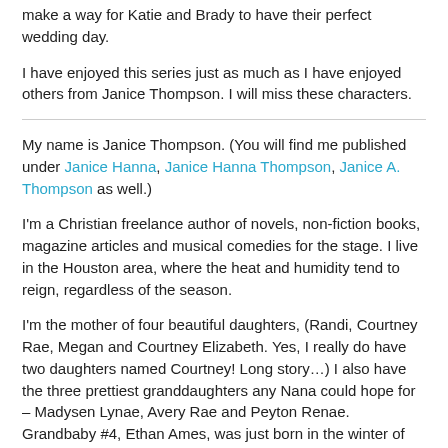make a way for Katie and Brady to have their perfect wedding day.
I have enjoyed this series just as much as I have enjoyed others from Janice Thompson. I will miss these characters.
My name is Janice Thompson. (You will find me published under Janice Hanna, Janice Hanna Thompson, Janice A. Thompson as well.)
I'm a Christian freelance author of novels, non-fiction books, magazine articles and musical comedies for the stage. I live in the Houston area, where the heat and humidity tend to reign, regardless of the season.
I'm the mother of four beautiful daughters, (Randi, Courtney Rae, Megan and Courtney Elizabeth. Yes, I really do have two daughters named Courtney! Long story…) I also have the three prettiest granddaughters any Nana could hope for – Madysen Lynae, Avery Rae and Peyton Renae. Grandbaby #4, Ethan Ames, was just born in the winter of '09 and baby Boston Craig just arrived in the spring of '10